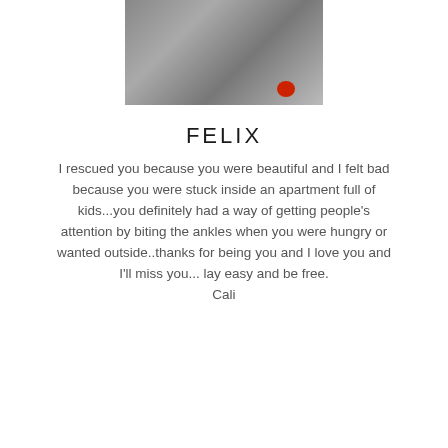[Figure (photo): A tabby cat sitting, photographed indoors with colorful items in the background including a red ball and blue/green packaging.]
FELIX
I rescued you because you were beautiful and I felt bad because you were stuck inside an apartment full of kids...you definitely had a way of getting people's attention by biting the ankles when you were hungry or wanted outside..thanks for being you and I love you and I'll miss you... lay easy and be free.
Cali